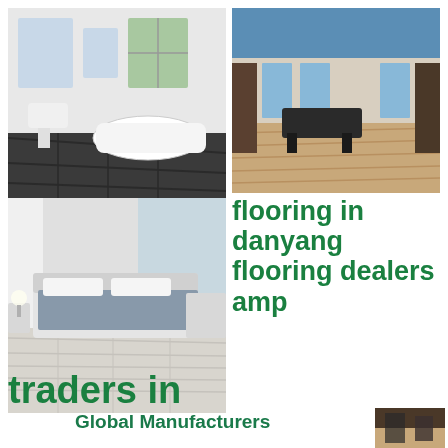[Figure (photo): Bathroom with dark flooring, white bathtub and pedestal sink]
[Figure (photo): Elegant room with light wood flooring, blue ceiling and grand piano]
[Figure (photo): Bedroom with light gray/white wood flooring and white furniture]
flooring in danyang flooring dealers amp traders in
[Figure (photo): Small partial photo at bottom right corner]
Global Manufacturers